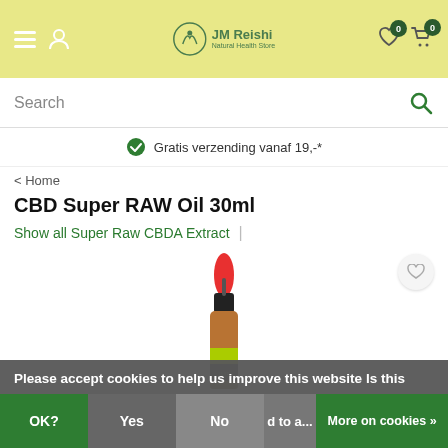[Figure (screenshot): Website header with yellow-green background, hamburger menu, user icon, JM Reishi logo in center, wishlist icon with badge 0, cart icon with badge 0]
Search
Gratis verzending vanaf 19,-*
< Home
CBD Super RAW Oil 30ml
Show all Super Raw CBDA Extract  |
[Figure (photo): Amber dropper bottle with red rubber top, black cap, and green-yellow label containing CBD Super RAW Oil 30ml]
Please accept cookies to help us improve this website Is this
OK?  Yes  No  d to a...  More on cookies »